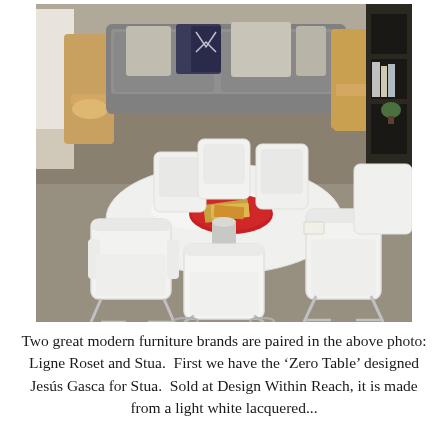[Figure (photo): Showroom photo of a round white 'Zero Table' by Stua with a chrome pedestal base, surrounded by six white modern chairs with chrome sled legs. A red tray with books sits on the table. In the background are gray sofas with decorative pillows, a wooden chair, and a dark bookshelf. A colorful area rug is visible on the floor.]
Two great modern furniture brands are paired in the above photo: Ligne Roset and Stua.  First we have the ‘Zero Table’ designed Jesús Gasca for Stua.  Sold at Design Within Reach, it is made from a light white lacquered...